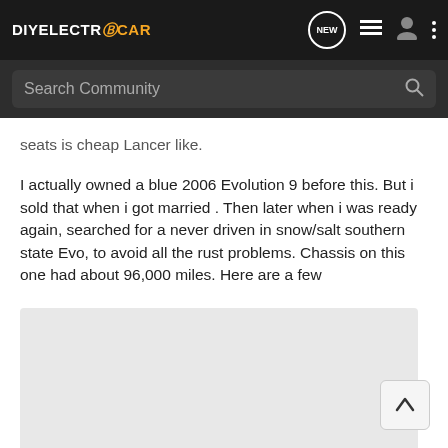DIYELECTRiCCAR — navigation header with logo and icons
Search Community
seats is cheap Lancer like.
I actually owned a blue 2006 Evolution 9 before this. But i sold that when i got married . Then later when i was ready again, searched for a never driven in snow/salt southern state Evo, to avoid all the rust problems. Chassis on this one had about 96,000 miles. Here are a few
[Figure (photo): Partially visible photo placeholder, light grey background]